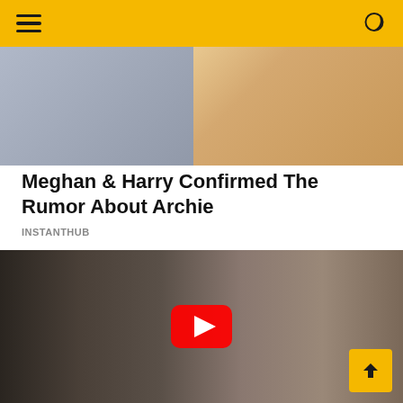Navigation bar with hamburger menu and dark mode toggle
[Figure (photo): Top photo showing a man in grey blazer with white shirt and a child in striped top, partially cropped]
Meghan & Harry Confirmed The Rumor About Archie
INSTANTHUB
[Figure (photo): Photo of two people with a YouTube play button overlay in the center — a man in a dark suit kissing a woman with brown hair and glasses]